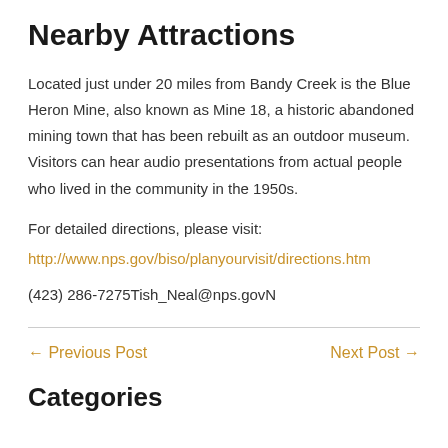Nearby Attractions
Located just under 20 miles from Bandy Creek is the Blue Heron Mine, also known as Mine 18, a historic abandoned mining town that has been rebuilt as an outdoor museum. Visitors can hear audio presentations from actual people who lived in the community in the 1950s.
For detailed directions, please visit:
http://www.nps.gov/biso/planyourvisit/directions.htm
(423) 286-7275Tish_Neal@nps.govN
← Previous Post
Next Post →
Categories